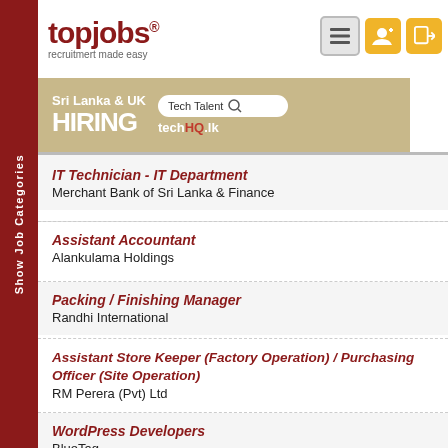[Figure (logo): topjobs logo with tagline 'recruitmert made easy']
[Figure (infographic): Ad banner: Sri Lanka & UK HIRING Tech Talent techHQ.lk]
IT Technician - IT Department
Merchant Bank of Sri Lanka & Finance
Assistant Accountant
Alankulama Holdings
Packing / Finishing Manager
Randhi International
Assistant Store Keeper (Factory Operation) / Purchasing Officer (Site Operation)
RM Perera (Pvt) Ltd
WordPress Developers
BlueTag
Senior Software Engineers / Software Engineers
BlueTag